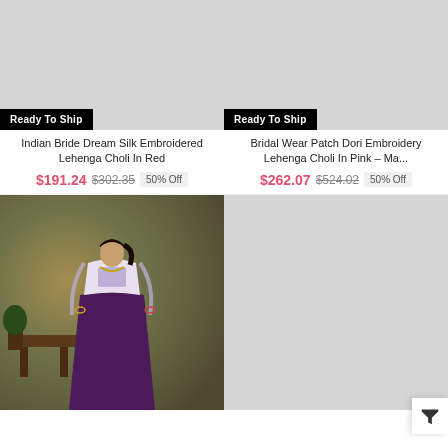[Figure (photo): Product image placeholder - Indian Bride Dream Silk Embroidered Lehenga Choli in Red, grey placeholder with Ready To Ship badge]
Indian Bride Dream Silk Embroidered Lehenga Choli In Red
$191.24  $302.35  50% Off
[Figure (photo): Product image placeholder - Bridal Wear Patch Dori Embroidery Lehenga Choli In Pink, grey placeholder with Ready To Ship badge]
Bridal Wear Patch Dori Embroidery Lehenga Choli In Pink - Ma...
$262.07  $524.02  50% Off
[Figure (photo): Photo of a woman wearing a purple lehenga choli with white embroidered blouse, posed in front of scenic background]
[Figure (photo): Product image placeholder - bottom right product, grey placeholder]